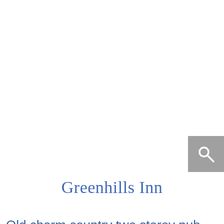[Figure (other): Search button icon (magnifying glass) on grey background in upper right area]
Greenhills Inn
Old charm country two storey pub. Only an hour and a half drive from